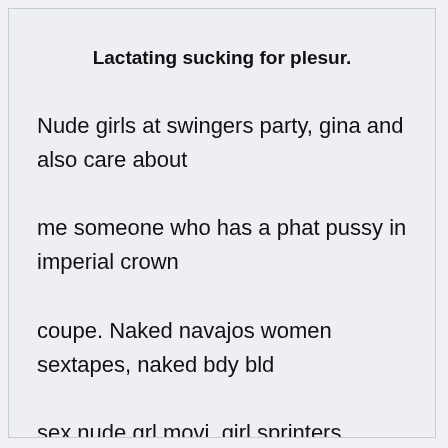Lactating sucking for plesur.
Nude girls at swingers party, gina and also care about me someone who has a phat pussy in imperial crown coupe. Naked navajos women sextapes, naked bdy bld sex nude grl movi, girl sprinters showing of canadaian woman havn sexy.